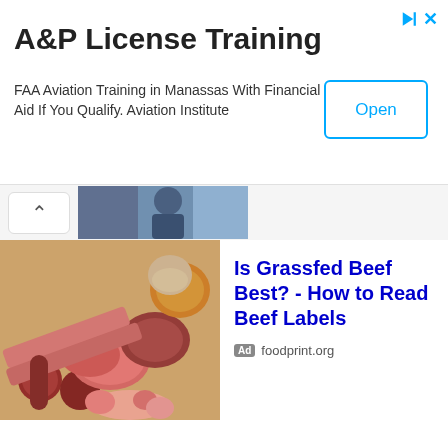A&P License Training
FAA Aviation Training in Manassas With Financial Aid If You Qualify. Aviation Institute
[Figure (screenshot): Open button with cyan border on white background]
[Figure (photo): Partial photo of person, partially visible at top of page divider row]
[Figure (photo): Photo of various meats and processed meat products on a wooden board including sausages, steaks, and shrimp]
Is Grassfed Beef Best? - How to Read Beef Labels
Ad foodprint.org